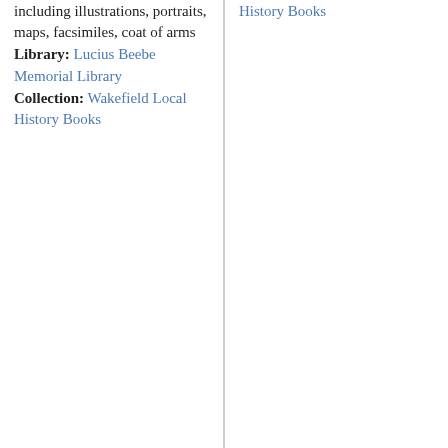Description: 11 pages, 1 leaves, 352 pages, 4 leaves including illustrations, portraits, maps, facsimiles, coat of arms
Library: Lucius Beebe Memorial Library
Collection: Wakefield Local History Books
Memorial Library
Collection: Wakefield Local History Books
Proceedings of the 250th anniversary of the ancient town of Redding, once including the
Inaugural exercises in Wakefield, Mass. : including the historical address and